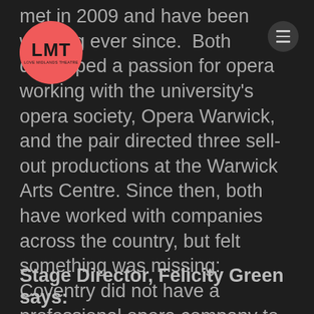[Figure (logo): LMT Love Midlands Theatre circular red logo]
met in 2009 and have been working ever since.  Both developed a passion for opera working with the university's opera society, Opera Warwick, and the pair directed three sell-out productions at the Warwick Arts Centre. Since then, both have worked with companies across the country, but felt something was missing: Coventry did not have a professional opera company to call its own. By securing the support of Arts Council England to absolve this absence, HighTime was born.
Stage Director, Felicity Green says: